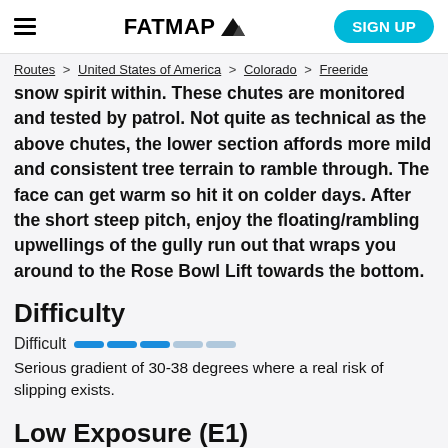FATMAP [logo] | SIGN UP
Routes > United States of America > Colorado > Freeride
snow spirit within. These chutes are monitored and tested by patrol. Not quite as technical as the above chutes, the lower section affords more mild and consistent tree terrain to ramble through. The face can get warm so hit it on colder days. After the short steep pitch, enjoy the floating/rambling upwellings of the gully run out that wraps you around to the Rose Bowl Lift towards the bottom.
Difficulty
Difficult — difficulty bar 3 of 5 filled
Serious gradient of 30-38 degrees where a real risk of slipping exists.
Low Exposure (E1)